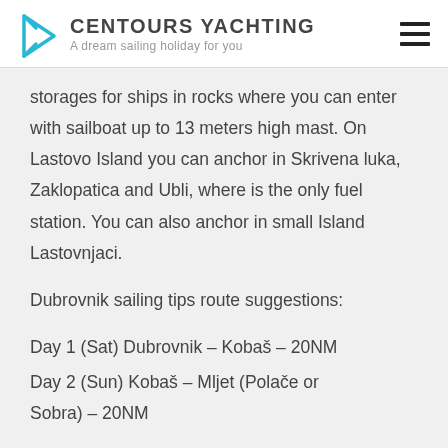CENTOURS YACHTING — A dream sailing holiday for you
storages for ships in rocks where you can enter with sailboat up to 13 meters high mast. On Lastovo Island you can anchor in Skrivena luka, Zaklopatica and Ubli, where is the only fuel station. You can also anchor in small Island Lastovnjaci.
Dubrovnik sailing tips route suggestions:
Day 1 (Sat) Dubrovnik – Kobaš – 20NM
Day 2 (Sun) Kobaš – Mljet (Polače or Sobra) – 20NM